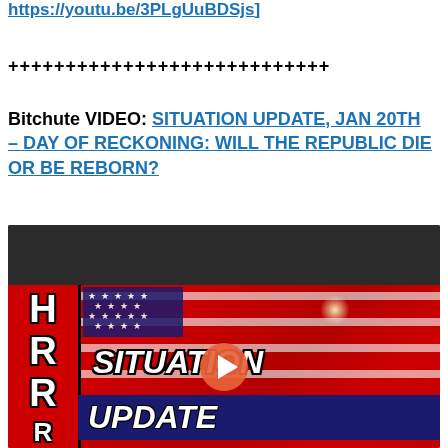https://youtu.be/3PLgUuBDSjs]
++++++++++++++++++++++++++++
Bitchute VIDEO: SITUATION UPDATE, JAN 20TH – DAY OF RECKONING: WILL THE REPUBLIC DIE OR BE REBORN?
[Figure (screenshot): Thumbnail image of a Bitchute video titled 'Situation Update' with HRR branding on the left, an American flag background, and a play button in the center.]